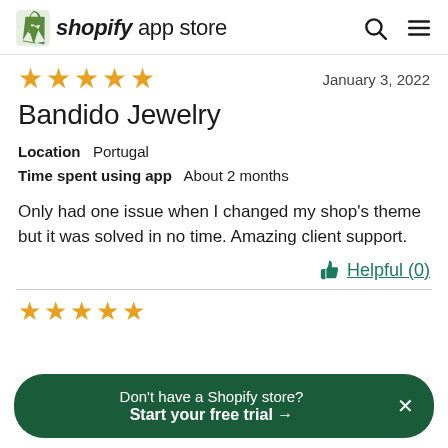shopify app store
★★★★★  January 3, 2022
Bandido Jewelry
Location  Portugal
Time spent using app  About 2 months
Only had one issue when I changed my shop's theme but it was solved in no time. Amazing client support.
Helpful (0)
★★★★★
Don't have a Shopify store?
Start your free trial →